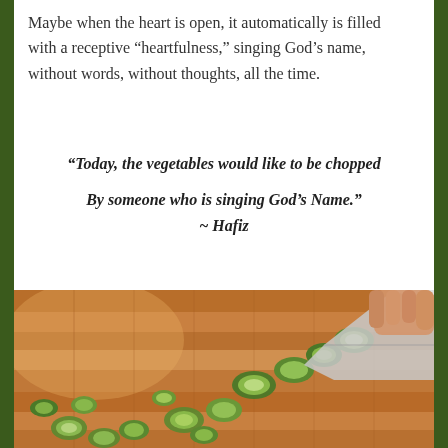Maybe when the heart is open, it automatically is filled with a receptive “heaptfulness,” singing God’s name, without words, without thoughts, all the time.
“Today, the vegetables would like to be chopped

By someone who is singing God’s Name.”
~ Hafiz
[Figure (photo): A photo of cucumbers being chopped on a wooden cutting board. A hand holds a knife cutting pieces of cucumber, with scattered chopped cucumber pieces in the foreground on the warm brown wooden surface.]